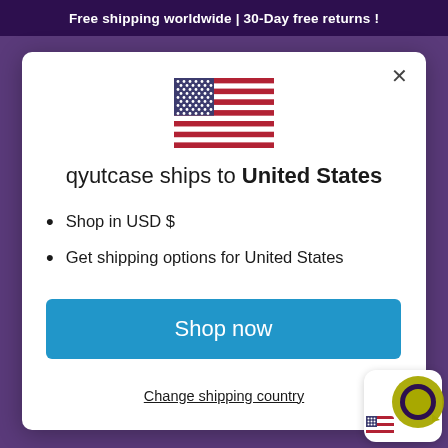Free shipping worldwide | 30-Day free returns !
[Figure (illustration): US flag emoji shown in the modal dialog]
qyutcase ships to United States
Shop in USD $
Get shipping options for United States
Shop now
Change shipping country